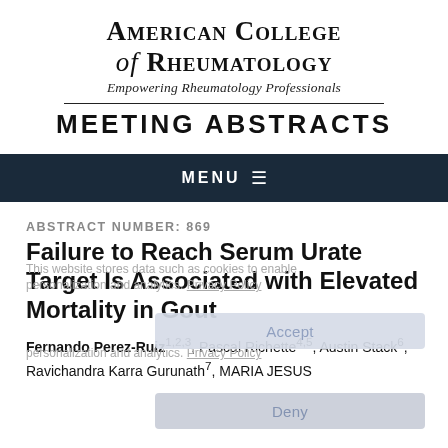American College of Rheumatology
Empowering Rheumatology Professionals
MEETING ABSTRACTS
MENU ☰
ABSTRACT NUMBER: 869
Failure to Reach Serum Urate Target Is Associated with Elevated Mortality in Gout
Fernando Perez-Ruiz1,2,3, Pascal Richette4,5, Austin Stack6, Ravichandra Karra Gurunath7, MARIA JESUS